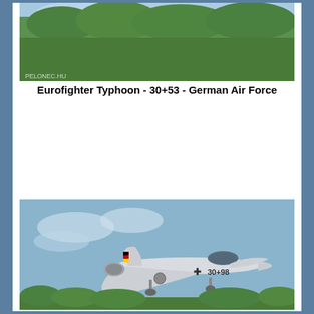[Figure (photo): Partial photo of a Eurofighter Typhoon aircraft with trees and sky background, watermark visible at bottom left]
Eurofighter Typhoon - 30+53 - German Air Force
[Figure (photo): Photo of a German Air Force Eurofighter Typhoon aircraft with markings '30+98', shown landing or taking off against a blue sky with trees in background]